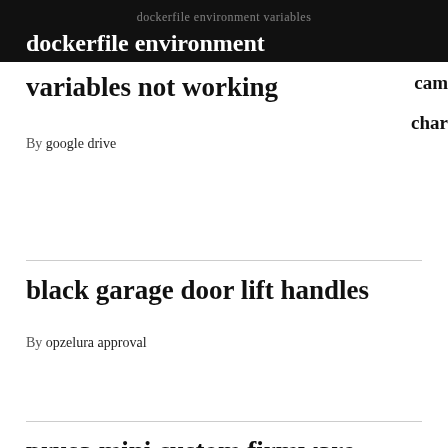dockerfile environment variables not working
variables not working
By google drive
black garage door lift handles
By opzelura approval
prusa mini custom firmware
By gamefowl farms in alabama on facebook